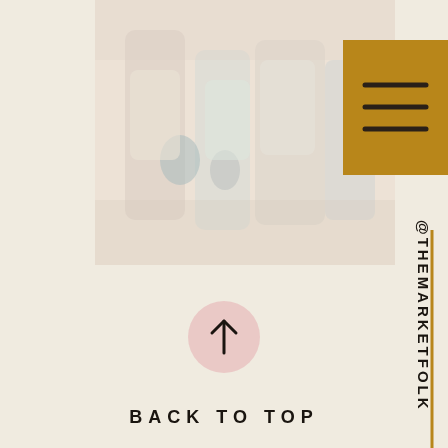[Figure (photo): Blurred/faded photo of people shopping at a market, soft pastel tones]
[Figure (other): Gold/dark yellow square button with three horizontal lines (hamburger menu icon)]
@THEMARKETFOLK
[Figure (other): Pink circle with upward arrow, 'BACK TO TOP' button]
BACK TO TOP